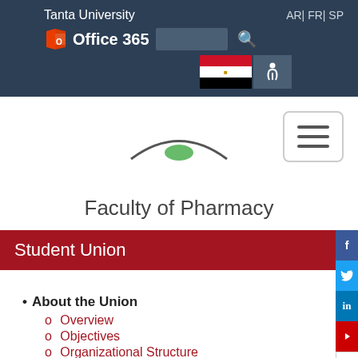Tanta University   AR| FR| SP
[Figure (logo): Microsoft Office 365 logo and text with search bar and search icon]
[Figure (illustration): Egyptian flag and accessibility icon in header bar]
[Figure (logo): Faculty of Pharmacy arch/gateway logo mark]
[Figure (screenshot): Hamburger menu button (three horizontal lines in rounded rectangle)]
Faculty of Pharmacy
Student Union
[Figure (infographic): Social media icons: Facebook, Twitter, LinkedIn, YouTube, Instagram on right side]
About the Union
o Overview
o Objectives
o Organizational Structure